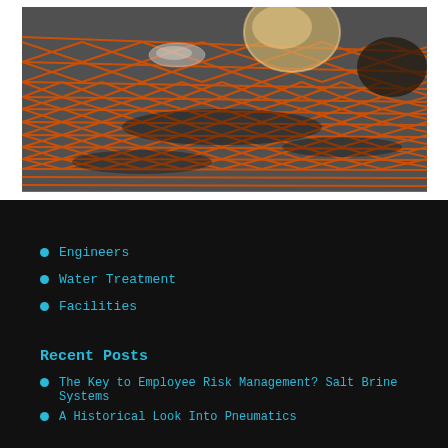[Figure (photo): Close-up photo of an orange/red plastic safety net mesh laid on a dark surface, with clear water droplets or gel beads visible on top of the mesh. The netting casts shadows on the ground underneath.]
Engineers
Water Treatment
Facilities
Recent Posts
The Key to Employee Risk Management? Salt Brine Systems
A Historical Look Into Pneumatics